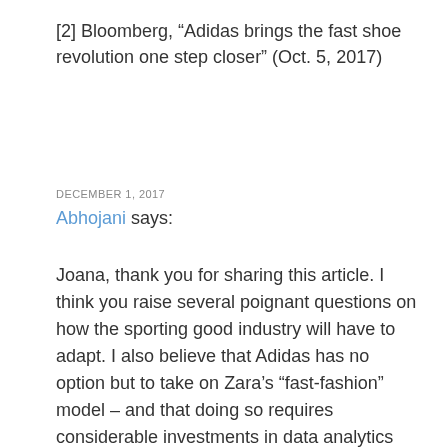[2] Bloomberg, “Adidas brings the fast shoe revolution one step closer” (Oct. 5, 2017)
DECEMBER 1, 2017
Abhojani says:
Joana, thank you for sharing this article. I think you raise several poignant questions on how the sporting good industry will have to adapt. I also believe that Adidas has no option but to take on Zara’s “fast-fashion” model – and that doing so requires considerable investments in data analytics and technologies that can digitalize the company's supply chain.